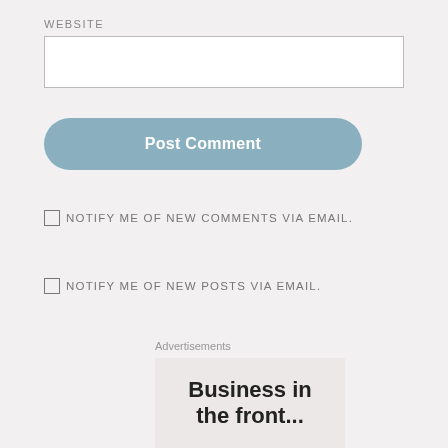WEBSITE
[Figure (screenshot): Empty text input field for website URL]
[Figure (screenshot): Post Comment button, rounded rectangle, steel blue color]
NOTIFY ME OF NEW COMMENTS VIA EMAIL.
NOTIFY ME OF NEW POSTS VIA EMAIL.
Advertisements
Business in the front...